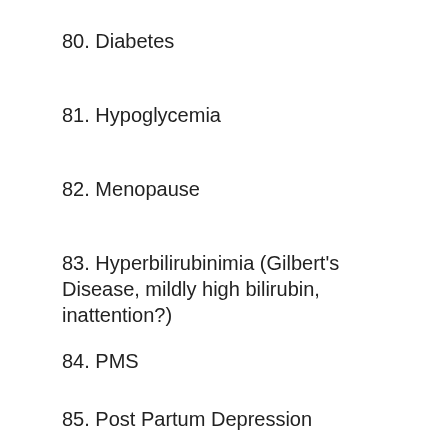80. Diabetes
81. Hypoglycemia
82. Menopause
83. Hyperbilirubinimia (Gilbert's Disease, mildly high bilirubin, inattention?)
84. PMS
85. Post Partum Depression